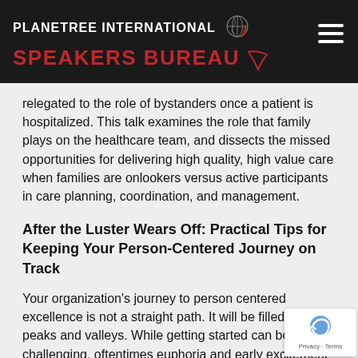PLANETREE INTERNATIONAL SPEAKERS BUREAU
relegated to the role of bystanders once a patient is hospitalized. This talk examines the role that family plays on the healthcare team, and dissects the missed opportunities for delivering high quality, high value care when families are onlookers versus active participants in care planning, coordination, and management.
After the Luster Wears Off: Practical Tips for Keeping Your Person-Centered Journey on Track
Your organization's journey to person centered excellence is not a straight path. It will be filled with peaks and valleys. While getting started can be challenging, oftentimes euphoria and early excitement can carry you through the early stages. Come join us for a session that offers ideas, suggestions, and examples of what to do after that initial effort, when the luster off, and the bigger obstacles are in your way.